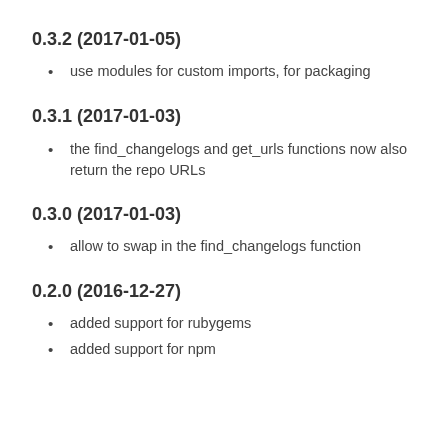0.3.2 (2017-01-05)
use modules for custom imports, for packaging
0.3.1 (2017-01-03)
the find_changelogs and get_urls functions now also return the repo URLs
0.3.0 (2017-01-03)
allow to swap in the find_changelogs function
0.2.0 (2016-12-27)
added support for rubygems
added support for npm